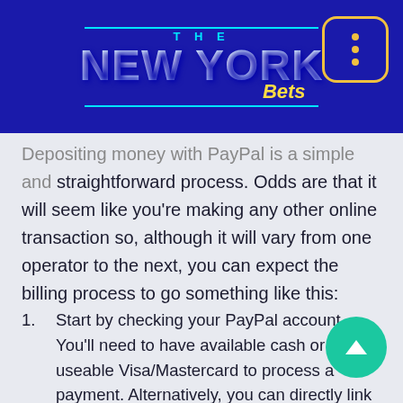THE NEW YORK Bets
Depositing money with PayPal is a simple and straightforward process. Odds are that it will seem like you're making any other online transaction so, although it will vary from one operator to the next, you can expect the billing process to go something like this:
Start by checking your PayPal account. You'll need to have available cash or a useable Visa/Mastercard to process a payment. Alternatively, you can directly link your bank account to PayPal if you'd prefer one-to-one payments.
Log into your account and navigate to the 'Banki…
Select 'Deposits'